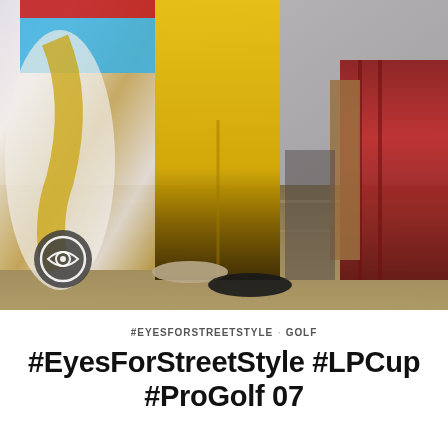[Figure (photo): Street style photography at a golf event showing person in yellow trousers/pants standing near a table draped in white and gold cloth, with red/brown golf bag visible on the right side. A circular logo/watermark is visible at bottom left of the photo.]
#EYESFORSTREETSTYLE · GOLF
#EyesForStreetStyle #LPCup #ProGolf 07